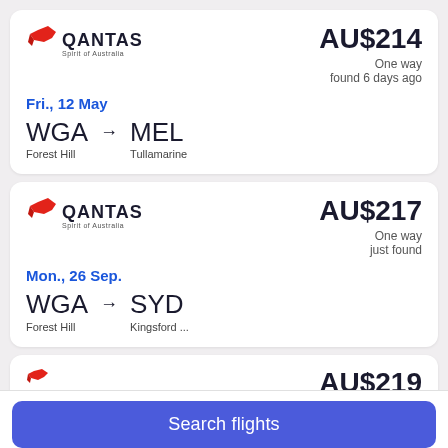[Figure (screenshot): Flight search results showing Qantas flights from WGA (Forest Hill) to MEL (Tullamarine) on Fri., 12 May for AU$214 one way found 6 days ago; from WGA (Forest Hill) to SYD (Kingsford ...) on Mon., 26 Sep. for AU$217 one way just found; and a partial card showing AU$219. Search flights button at the bottom.]